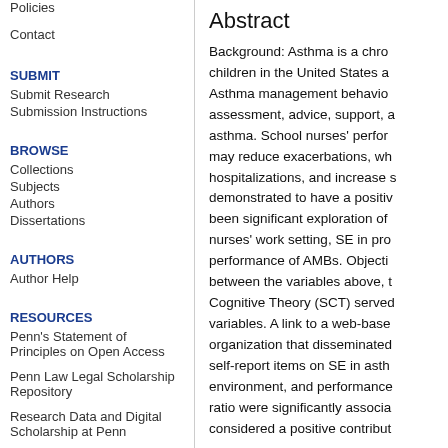Policies
Contact
SUBMIT
Submit Research
Submission Instructions
BROWSE
Collections
Subjects
Authors
Dissertations
AUTHORS
Author Help
RESOURCES
Penn's Statement of Principles on Open Access
Penn Law Legal Scholarship Repository
Research Data and Digital Scholarship at Penn
Abstract
Background: Asthma is a chro... children in the United States a... Asthma management behavio... assessment, advice, support, a... asthma. School nurses' perfor... may reduce exacerbations, wh... hospitalizations, and increase s... demonstrated to have a positiv... been significant exploration of ... nurses' work setting, SE in pro... performance of AMBs. Objecti... between the variables above, t... Cognitive Theory (SCT) served... variables. A link to a web-base... organization that disseminated... self-report items on SE in asth... environment, and performance... ratio were significantly associa... considered a positive contribut...